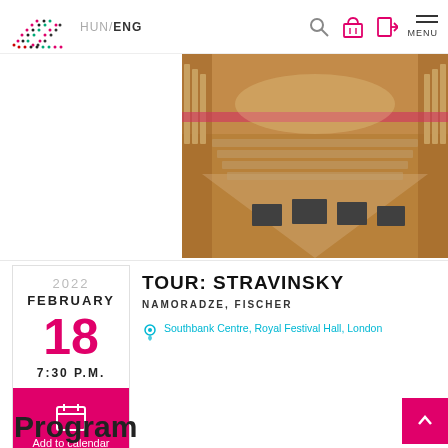HUN / ENG [search icon] [basket icon] [login icon] MENU
[Figure (photo): Interior view of a large concert hall (Southbank Centre, Royal Festival Hall, London) from the stage perspective, showing rows of seats, organ pipes on the sides, and music stands on the stage floor. Warm amber/wood tones.]
2022
FEBRUARY
18
7:30 P.M.
Add to calendar
TOUR: STRAVINSKY
NAMORADZE, FISCHER
Southbank Centre, Royal Festival Hall, London
Program